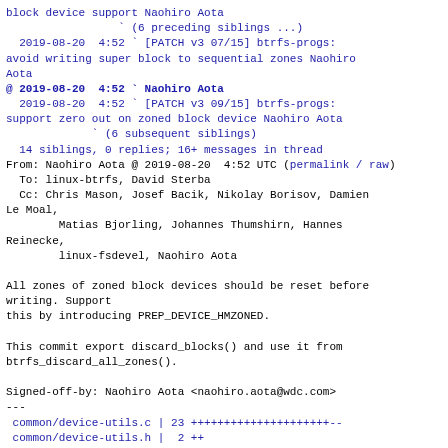block device support Naohiro Aota
     ` (6 preceding siblings ...)
  2019-08-20  4:52 ` [PATCH v3 07/15] btrfs-progs: avoid writing super block to sequential zones Naohiro Aota
@ 2019-08-20  4:52 ` Naohiro Aota
  2019-08-20  4:52 ` [PATCH v3 09/15] btrfs-progs: support zero out on zoned block device Naohiro Aota
             ` (6 subsequent siblings)
  14 siblings, 0 replies; 16+ messages in thread
From: Naohiro Aota @ 2019-08-20  4:52 UTC (permalink / raw)
  To: linux-btrfs, David Sterba
  Cc: Chris Mason, Josef Bacik, Nikolay Borisov, Damien Le Moal,
        Matias Bjorling, Johannes Thumshirn, Hannes Reinecke,
        linux-fsdevel, Naohiro Aota

All zones of zoned block devices should be reset before writing. Support
this by introducing PREP_DEVICE_HMZONED.

This commit export discard_blocks() and use it from btrfs_discard_all_zones().

Signed-off-by: Naohiro Aota <naohiro.aota@wdc.com>
---
 common/device-utils.c | 23 +++++++++++++++++++++--
 common/device-utils.h |  2 ++